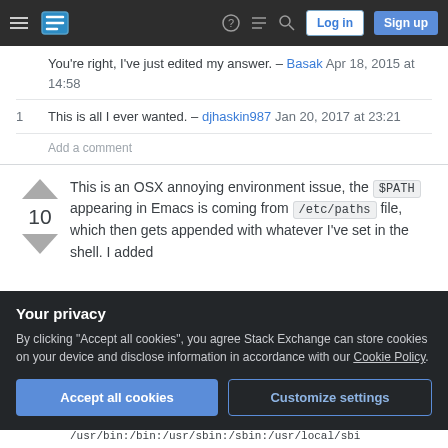Stack Exchange navigation bar with hamburger menu, logo, help, chat, search icons, Log in and Sign up buttons
You're right, I've just edited my answer. – Basak Apr 18, 2015 at 14:58
1  This is all I ever wanted. – djhaskin987 Jan 20, 2017 at 23:21
Add a comment
This is an OSX annoying environment issue, the $PATH appearing in Emacs is coming from /etc/paths file, which then gets appended with whatever I've set in the shell. I added
Your privacy
By clicking "Accept all cookies", you agree Stack Exchange can store cookies on your device and disclose information in accordance with our Cookie Policy.
Accept all cookies  Customize settings
/usr/bin:/bin:/usr/sbin:/sbin:/usr/local/sbi